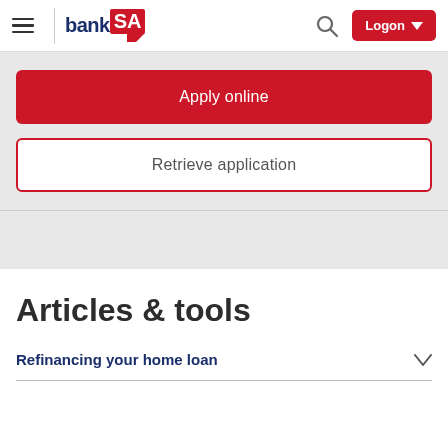bankSA — Logon
Apply online
Retrieve application
Articles & tools
Refinancing your home loan